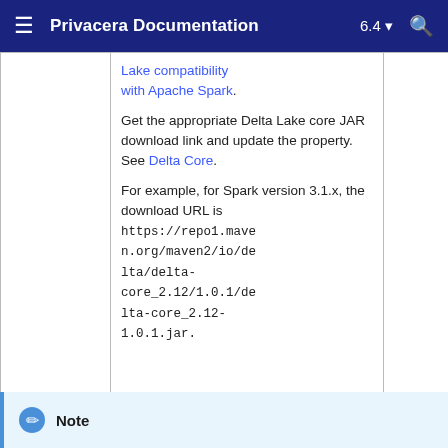Privacera Documentation 6.4
|  |  |  |
| --- | --- | --- |
|  | Lake compatibility with Apache Spark.

Get the appropriate Delta Lake core JAR download link and update the property. See Delta Core.

For example, for Spark version 3.1.x, the download URL is https://repo1.maven.org/maven2/io/delta/delta-core_2.12/1.0.1/delta-core_2.12-1.0.1.jar. |  |
Note